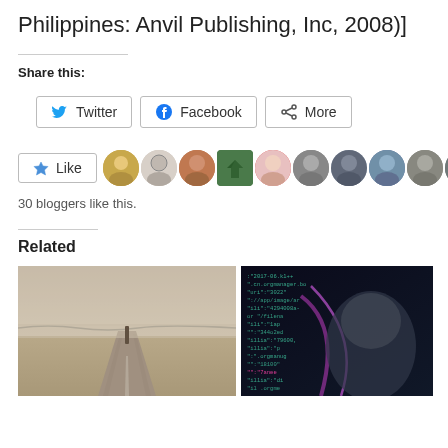Philippines: Anvil Publishing, Inc, 2008)]
Share this:
[Figure (screenshot): Social share buttons: Twitter, Facebook, More]
[Figure (screenshot): Like button and avatar strip of 30 bloggers who liked this]
30 bloggers like this.
Related
[Figure (photo): Sepia-toned photo of a road on a beach with tire tracks and ocean waves]
[Figure (screenshot): Dark tech/code background with glowing lines and a person's face partially visible]